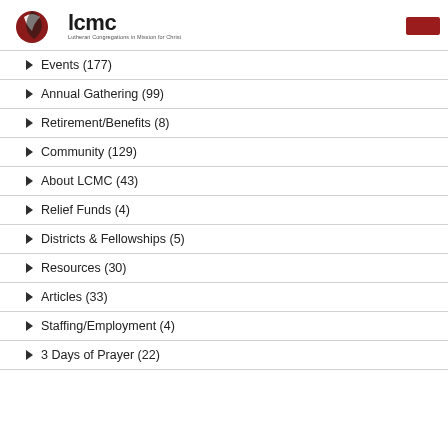lcmc — Lutheran Congregations in Mission for Christ
Events (177)
Annual Gathering (99)
Retirement/Benefits (8)
Community (129)
About LCMC (43)
Relief Funds (4)
Districts & Fellowships (5)
Resources (30)
Articles (33)
Staffing/Employment (4)
3 Days of Prayer (22)